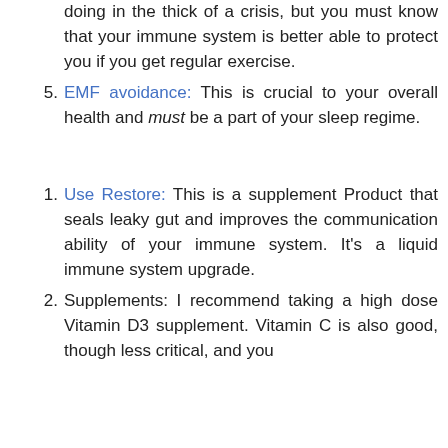5. EMF avoidance: This is crucial to your overall health and must be a part of your sleep regime.
1. Use Restore: This is a supplement Product that seals leaky gut and improves the communication ability of your immune system. It's a liquid immune system upgrade.
2. Supplements: I recommend taking a high dose Vitamin D3 supplement. Vitamin C is also good, though less critical, and you